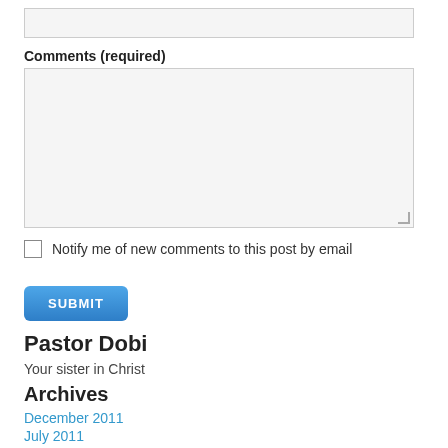[input field]
Comments (required)
[textarea field]
Notify me of new comments to this post by email
SUBMIT
Pastor Dobi
Your sister in Christ
Archives
December 2011
July 2011